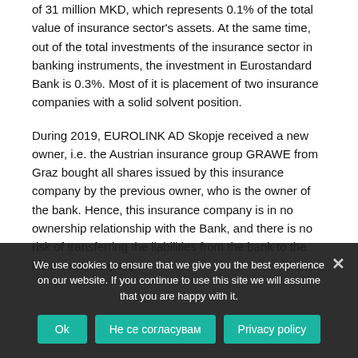of 31 million MKD, which represents 0.1% of the total value of insurance sector's assets. At the same time, out of the total investments of the insurance sector in banking instruments, the investment in Eurostandard Bank is 0.3%. Most of it is placement of two insurance companies with a solid solvent position.
During 2019, EUROLINK AD Skopje received a new owner, i.e. the Austrian insurance group GRAWE from Graz bought all shares issued by this insurance company by the previous owner, who is the owner of the bank. Hence, this insurance company is in no ownership relationship with the Bank, and there is no risk of transferring the liabilities from the bank to the insurance company.
We use cookies to ensure that we give you the best experience on our website. If you continue to use this site we will assume that you are happy with it.